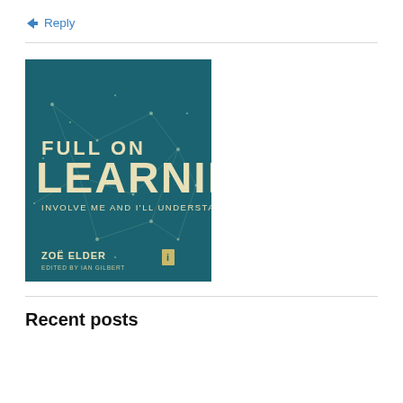↳ Reply
[Figure (illustration): Book cover of 'Full On Learning: Involve Me and I'll Understand' by Zoë Elder, edited by Ian Gilbert. Teal/dark cyan background with network constellation pattern. Title text in cream/off-white large letters.]
Recent posts